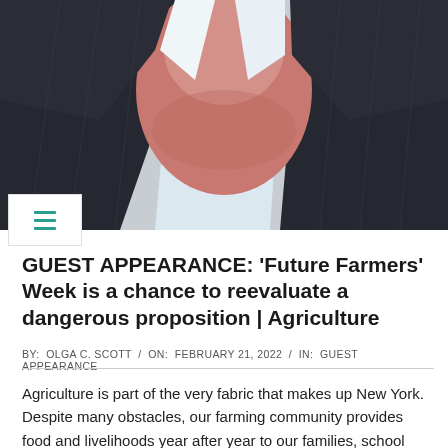[Figure (photo): Close-up photo of a man in a dark suit and light blue dress shirt, showing neck and lower face area]
GUEST APPEARANCE: 'Future Farmers' Week is a chance to reevaluate a dangerous proposition | Agriculture
BY:  OLGA C. SCOTT  /  ON:  FEBRUARY 21, 2022  /  IN:  GUEST APPEARANCE
Agriculture is part of the very fabric that makes up New York. Despite many obstacles, our farming community provides food and livelihoods year after year to our families, school children and those less fortunate with passion and diligence. Starting yesterday, we celebrate the contributions of our farming community and those who will continue the proud tradition of meeting our nutritional needs during America's Future Farmers Week, which runs through